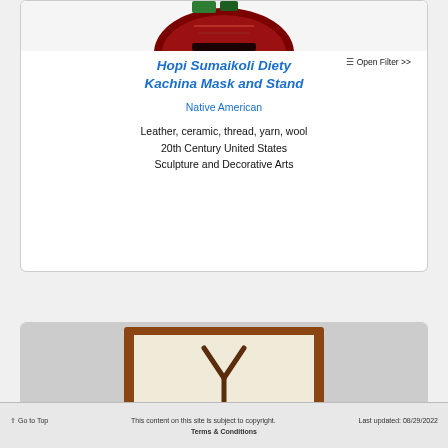[Figure (photo): Partial view of a Hopi Sumaikoli Diety Kachina Mask artifact with dark red/brown coloring against white background, cropped at top of page]
Hopi Sumaikoli Diety Kachina Mask and Stand
Open Filter >>
Native American
Leather, ceramic, thread, yarn, wool
20th Century United States
Sculpture and Decorative Arts
[Figure (photo): Partial view of a framed artifact in a brown wooden box/tray with cream/beige interior, showing a Y or wishbone shaped object, cropped at bottom of page]
Go to Top   This content on this site is subject to copyright.   Last updated: 08/29/2022
Terms & Conditions